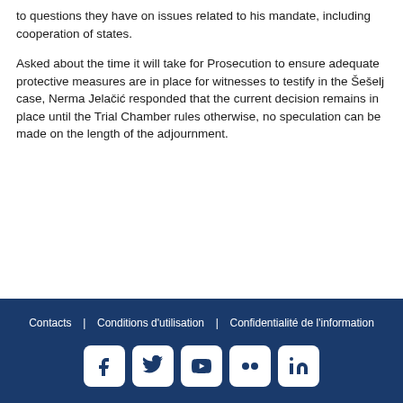to questions they have on issues related to his mandate, including cooperation of states.
Asked about the time it will take for Prosecution to ensure adequate protective measures are in place for witnesses to testify in the Šešelj case, Nerma Jelačić responded that the current decision remains in place until the Trial Chamber rules otherwise, no speculation can be made on the length of the adjournment.
Contacts | Conditions d'utilisation | Confidentialité de l'information [social icons: Facebook, Twitter, YouTube, Flickr, LinkedIn]